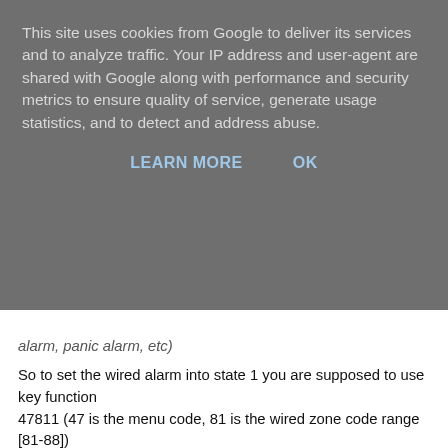This site uses cookies from Google to deliver its services and to analyze traffic. Your IP address and user-agent are shared with Google along with performance and security metrics to ensure quality of service, generate usage statistics, and to detect and address abuse.
LEARN MORE   OK
alarm, panic alarm, etc)
So to set the wired alarm into state 1 you are supposed to use key function
47811 (47 is the menu code, 81 is the wired zone code range [81-88])
However when I did this the alarm didn't confirm the setting, just returned to the menu, like it was an invalid setting. I then tried each one in turn and it seems 81 didn't accept it, but 82-88 did. I have my sensor still in zone1 and it works in mode 1, so not sure if that is a constant setting for that or something similar, but it seems to work.
All in all, I'm quite impressed. It installed without too much challenge and is working great with the remotes.